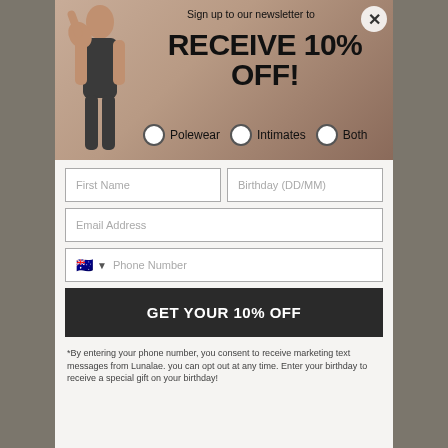Sign up to our newsletter to
RECEIVE 10% OFF!
Polewear   Intimates   Both
First Name
Birthday (DD/MM)
Email Address
Phone Number
GET YOUR 10% OFF
*By entering your phone number, you consent to receive marketing text messages from Lunalae. you can opt out at any time. Enter your birthday to receive a special gift on your birthday!